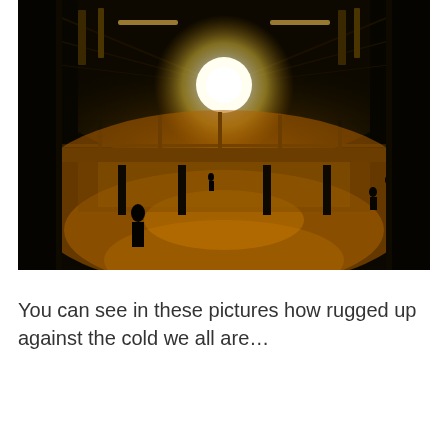[Figure (photo): Interior photograph of a large dark hall (Tate Modern Turbine Hall) with a glowing white sun-like orb suspended near the ceiling, casting warm golden-orange light on the floor below. Silhouettes of people visible in the space. A horizontal bridge/walkway crosses the space at mid-height.]
You can see in these pictures how rugged up against the cold we all are…